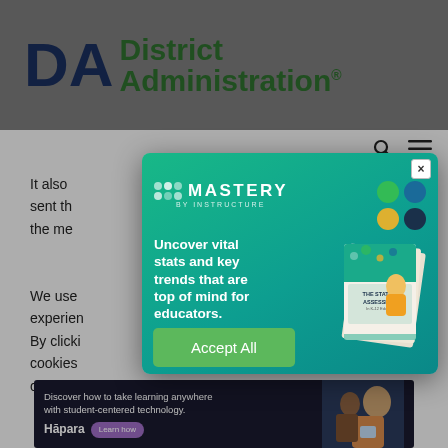[Figure (logo): District Administration logo with DA initials in dark navy and 'District Administration' text in green]
It also... survey, we sent th... know that the me... ed at.
We use... relevant experiences... t visits. By clicki... e cookies... ovide a controll...
[Figure (screenshot): Mastery by Instructure advertisement popup with headline 'Uncover vital stats and key trends that are top of mind for educators.' and 'GET THE STUDY' button, featuring The State of Assessment book cover]
Accept All
[Figure (photo): Hapara bottom banner ad: 'Discover how to take learning anywhere with student-centered technology.' with Learn how button and student photo]